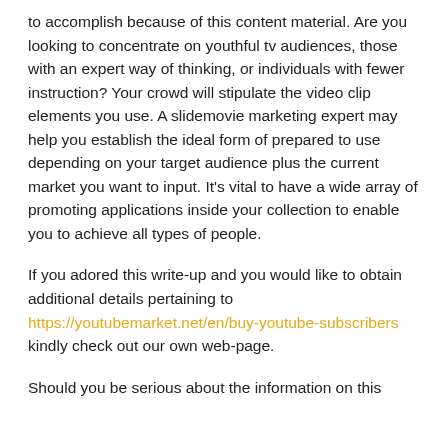to accomplish because of this content material. Are you looking to concentrate on youthful tv audiences, those with an expert way of thinking, or individuals with fewer instruction? Your crowd will stipulate the video clip elements you use. A slidemovie marketing expert may help you establish the ideal form of prepared to use depending on your target audience plus the current market you want to input. It's vital to have a wide array of promoting applications inside your collection to enable you to achieve all types of people.
If you adored this write-up and you would like to obtain additional details pertaining to https://youtubemarket.net/en/buy-youtube-subscribers kindly check out our own web-page.
Should you be serious about the information on this